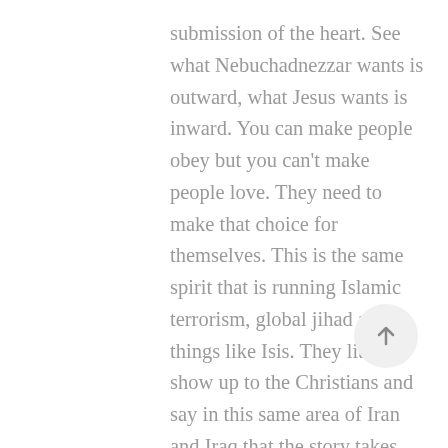submission of the heart. See what Nebuchadnezzar wants is outward, what Jesus wants is inward. You can make people obey but you can't make people love. They need to make that choice for themselves. This is the same spirit that is running Islamic terrorism, global jihad and things like Isis. They literally show up to the Christians and say in this same area of Iran and Iraq that the story takes place 2,600 years ago, that same spirit is still at work today, telling Christians convert or die. And many are being murdered and martyred. You need to know that you have a choice to make regarding who your God is and who you will worship. And He proposes a loving relationship. His is a kingdom based upon